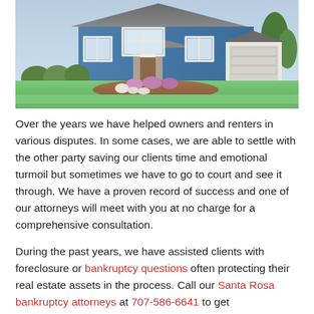[Figure (photo): Exterior photo of a blue craftsman-style house with white trim, manicured lawn, garden beds with purple and white flowers, a curved driveway, and green shrubs.]
Over the years we have helped owners and renters in various disputes. In some cases, we are able to settle with the other party saving our clients time and emotional turmoil but sometimes we have to go to court and see it through. We have a proven record of success and one of our attorneys will meet with you at no charge for a comprehensive consultation.
During the past years, we have assisted clients with foreclosure or bankruptcy questions often protecting their real estate assets in the process. Call our Santa Rosa bankruptcy attorneys at 707-586-6641 to get